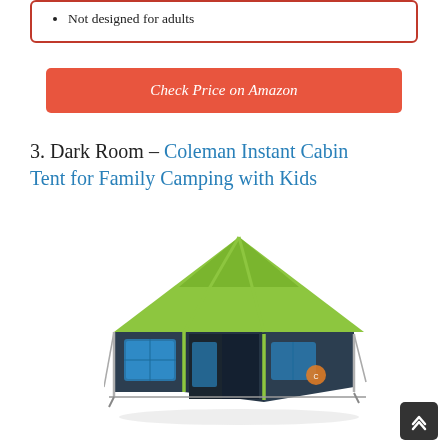Not designed for adults
Check Price on Amazon
3. Dark Room – Coleman Instant Cabin Tent for Family Camping with Kids
[Figure (photo): Coleman Instant Cabin Tent with dark room technology, lime green and dark navy color scheme, shown from a front-side angle outdoors.]